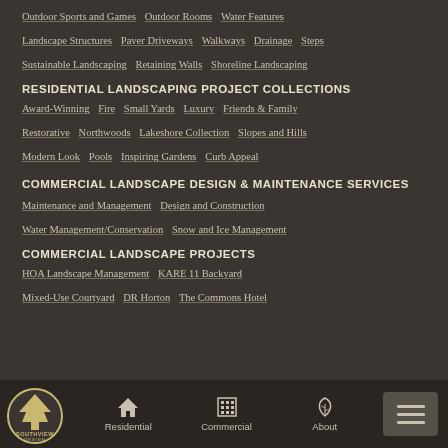Outdoor Sports and Games   Outdoor Rooms   Water Features
Landscape Structures   Paver Driveways   Walkways   Drainage   Steps
Sustainable Landscaping   Retaining Walls   Shoreline Landscaping
RESIDENTIAL LANDSCAPING PROJECT COLLECTIONS
Award-Winning   Fire   Small Yards   Luxury   Friends & Family
Restorative   Northwoods   Lakeshore Collection   Slopes and Hills
Modern Look   Pools   Inspiring Gardens   Curb Appeal
COMMERCIAL LANDSCAPE DESIGN & MAINTENANCE SERVICES
Maintenance and Management   Design and Construction
Water Management/Conservation   Snow and Ice Management
COMMERCIAL LANDSCAPE PROJECTS
HOA Landscape Management   KARE 11 Backyard
Mixed-Use Courtyard   DR Horton   The Commons Hotel
Southview Design logo | Residential | Commercial | About | Menu